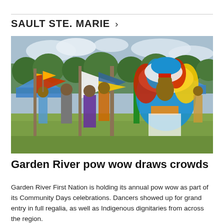SAULT STE. MARIE >
[Figure (photo): Outdoor pow wow scene with Indigenous dancers in colorful regalia including feathered headdresses and beaded costumes, surrounded by flags and other attendees on a grass field with trees and blue tents in the background.]
Garden River pow wow draws crowds
Garden River First Nation is holding its annual pow wow as part of its Community Days celebrations. Dancers showed up for grand entry in full regalia, as well as Indigenous dignitaries from across the region.